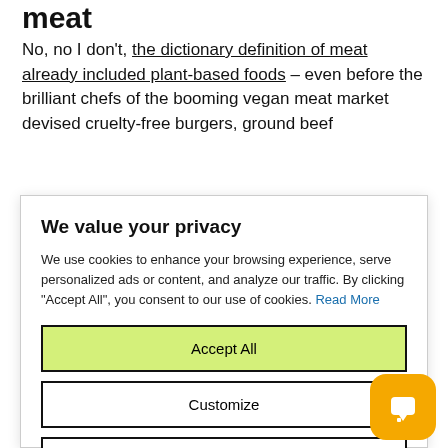meat
No, no I don't, the dictionary definition of meat already included plant-based foods – even before the brilliant chefs of the booming vegan meat market devised cruelty-free burgers, ground beef
We value your privacy
We use cookies to enhance your browsing experience, serve personalized ads or content, and analyze our traffic. By clicking "Accept All", you consent to our use of cookies. Read More
Accept All
Customize
Reject All